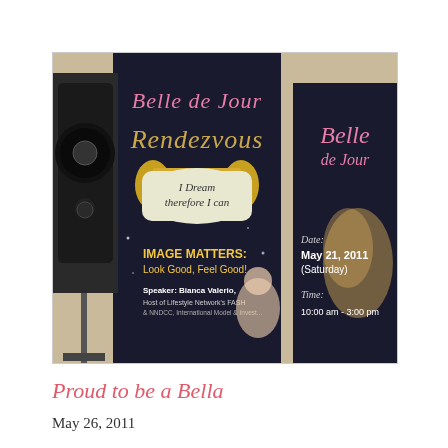[Figure (photo): Indoor photo of two tall dark banner stands. Left banner reads 'Belle de Jour Rendezvous' with a scroll graphic reading 'I Dream therefore I can', then 'IMAGE MATTERS: Look Good, Feel Good!' and 'Speaker: Bianca Valerio, Host of Lifestyle Network's FASH...' A speaker on a stand is visible to the left. Right banner reads 'Belle de Jour' with 'Date: May 21, 2011 (Saturday)' and 'Time: 10:00 am - 3:00 pm'.]
Proud to be a Bella
May 26, 2011